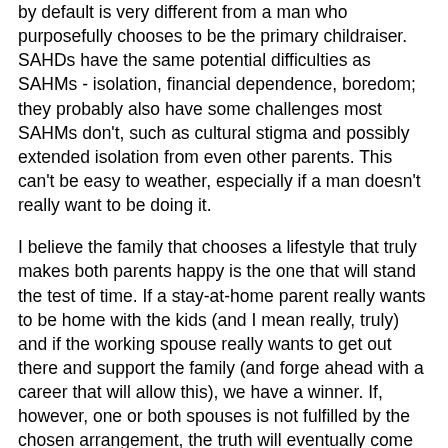by default is very different from a man who purposefully chooses to be the primary childraiser. SAHDs have the same potential difficulties as SAHMs - isolation, financial dependence, boredom; they probably also have some challenges most SAHMs don't, such as cultural stigma and possibly extended isolation from even other parents. This can't be easy to weather, especially if a man doesn't really want to be doing it.
I believe the family that chooses a lifestyle that truly makes both parents happy is the one that will stand the test of time. If a stay-at-home parent really wants to be home with the kids (and I mean really, truly) and if the working spouse really wants to get out there and support the family (and forge ahead with a career that will allow this), we have a winner. If, however, one or both spouses is not fulfilled by the chosen arrangement, the truth will eventually come out.
Are women divorcing their SAHD partners because they are not manly breadwinners any longer? That's like saying that men divorce their wives because they are no longer as physically attractive. Are men divorcing their primary breadwinner wives because they can't stand the power...